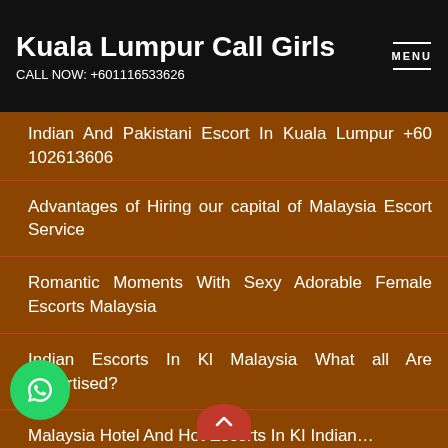Kuala Lumpur Call Girls
CALL NOW: +601116533626
Indian And Pakistani Escort In Kuala Lumpur +60 102613606
Advantages of Hiring our capital of Malaysia Escort Service
Romantic Moments With Sexy Adorable Female Escorts Malaysia
Indian Escorts In Kl Malaysia What all Are Advertised?
Malaysia Hotel And Hot Escorts In KI Indian…